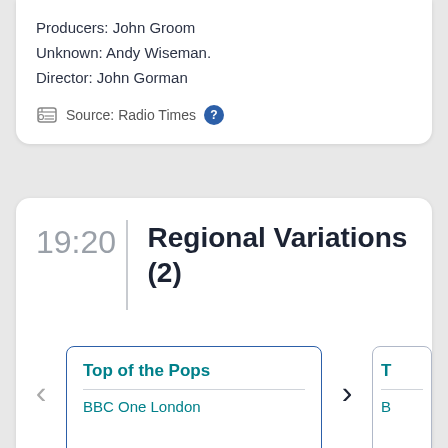Producers: John Groom
Unknown: Andy Wiseman.
Director: John Gorman
Source: Radio Times ?
19:20
Regional Variations (2)
Top of the Pops
BBC One London
T
B